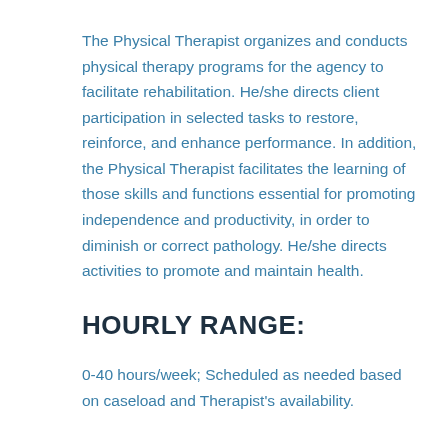The Physical Therapist organizes and conducts physical therapy programs for the agency to facilitate rehabilitation. He/she directs client participation in selected tasks to restore, reinforce, and enhance performance. In addition, the Physical Therapist facilitates the learning of those skills and functions essential for promoting independence and productivity, in order to diminish or correct pathology. He/she directs activities to promote and maintain health.
HOURLY RANGE:
0-40 hours/week; Scheduled as needed based on caseload and Therapist's availability.